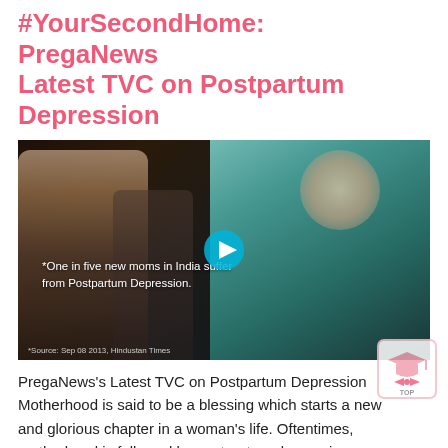#YourSecondHome: PregaNews Latest TVC on Postpartum Depression
[Figure (photo): Video thumbnail from PregaNews TVC showing a woman in a teal blazer in an office setting with two men in background. Overlay text reads: '*One in five new moms in India suffer from Postpartum Depression.' with a play button. Source: Sep 08 2013, Hindustan Times.]
PregaNews's Latest TVC on Postpartum Depression

Motherhood is said to be a blessing which starts a new and glorious chapter in a woman's life. Oftentimes, motherhood is followed by postpartum depression which